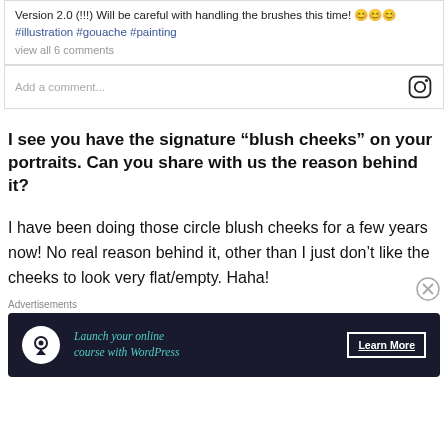Version 2.0 (!!!) Will be careful with handling the brushes this time! 😊😊😊 #illustration #gouache #painting
view all 6 comments
Add a comment...
I see you have the signature “blush cheeks” on your portraits. Can you share with us the reason behind it?
I have been doing those circle blush cheeks for a few years now! No real reason behind it, other than I just don’t like the cheeks to look very flat/empty. Haha!
Advertisements
[Figure (screenshot): Advertisement banner: Launch your online course with WordPress - Learn More button, dark navy background with teal text and tree icon]